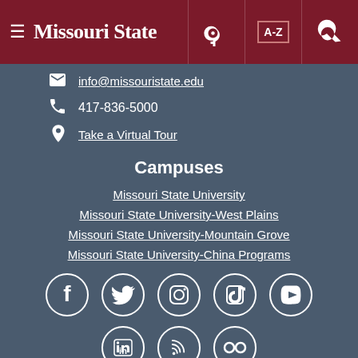Missouri State
info@missouristate.edu
417-836-5000
Take a Virtual Tour
Campuses
Missouri State University
Missouri State University-West Plains
Missouri State University-Mountain Grove
Missouri State University-China Programs
[Figure (infographic): Row of social media icons in white circles: Facebook, Twitter, Instagram, TikTok, YouTube]
[Figure (infographic): Row of social media icons in white circles: LinkedIn, RSS, Flickr]